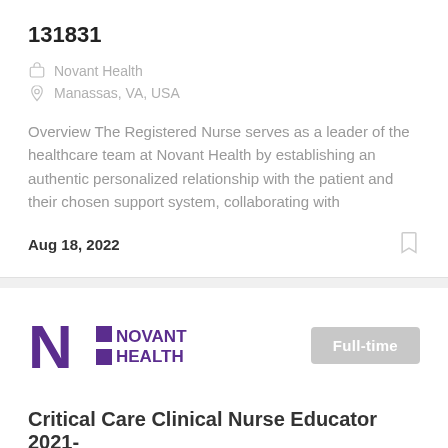131831
Novant Health
Manassas, VA, USA
Overview The Registered Nurse serves as a leader of the healthcare team at Novant Health by establishing an authentic personalized relationship with the patient and their chosen support system, collaborating with
Aug 18, 2022
[Figure (logo): Novant Health logo — large purple N with two purple squares, NOVANT HEALTH text in bold purple]
Full-time
Critical Care Clinical Nurse Educator 2021-